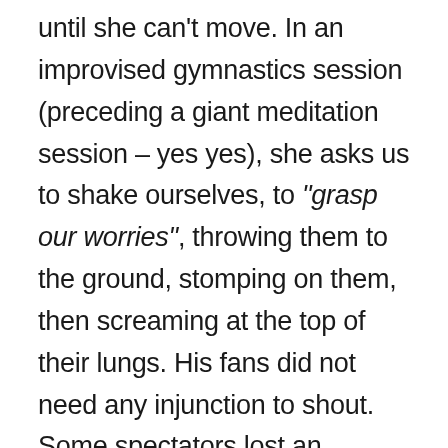until she can't move. In an improvised gymnastics session (preceding a giant meditation session – yes yes), she asks us to shake ourselves, to “grasp our worries”, throwing them to the ground, stomping on them, then screaming at the top of their lungs. His fans did not need any injunction to shout. Some spectators lost an eardrum.